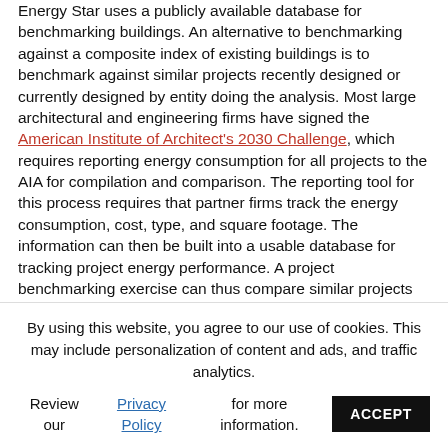Energy Star uses a publicly available database for benchmarking buildings. An alternative to benchmarking against a composite index of existing buildings is to benchmark against similar projects recently designed or currently designed by entity doing the analysis. Most large architectural and engineering firms have signed the American Institute of Architect's 2030 Challenge, which requires reporting energy consumption for all projects to the AIA for compilation and comparison. The reporting tool for this process requires that partner firms track the energy consumption, cost, type, and square footage. The information can then be built into a usable database for tracking project energy performance. A project benchmarking exercise can thus compare similar projects using similar, current efficient design technologies and
By using this website, you agree to our use of cookies. This may include personalization of content and ads, and traffic analytics. Review our Privacy Policy for more information. ACCEPT